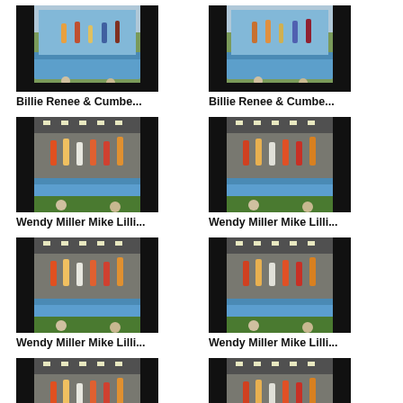[Figure (photo): Video thumbnail: performers on stage with blue tarp, outdoor setting, black bars on sides]
Billie Renee & Cumbe...
[Figure (photo): Video thumbnail: performers on stage with blue tarp, outdoor setting, black bars on sides]
Billie Renee & Cumbe...
[Figure (photo): Video thumbnail: performers on indoor stage with blue tarp, black bars on sides]
Wendy Miller Mike Lilli...
[Figure (photo): Video thumbnail: performers on indoor stage with blue tarp, black bars on sides]
Wendy Miller Mike Lilli...
[Figure (photo): Video thumbnail: performers on indoor stage with blue tarp, black bars on sides]
Wendy Miller Mike Lilli...
[Figure (photo): Video thumbnail: performers on indoor stage with blue tarp, black bars on sides]
Wendy Miller Mike Lilli...
[Figure (photo): Video thumbnail: performers on indoor stage with blue tarp, black bars on sides]
Wendy Miller Mike Lilli...
[Figure (photo): Video thumbnail: performers on indoor stage with blue tarp, black bars on sides]
Wendy Miller Mike Lilli...